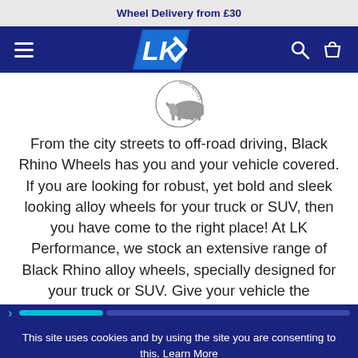Wheel Delivery from £30
[Figure (logo): LK Performance navigation bar with hamburger menu, LK logo in blue/white, search and basket icons]
[Figure (logo): Black Rhino Hard Alloys circular brand badge/logo]
From the city streets to off-road driving, Black Rhino Wheels has you and your vehicle covered. If you are looking for robust, yet bold and sleek looking alloy wheels for your truck or SUV, then you have come to the right place! At LK Performance, we stock an extensive range of Black Rhino alloy wheels, specially designed for your truck or SUV. Give your vehicle the
This site uses cookies and by using the site you are consenting to this. Learn More
I ACCEPT